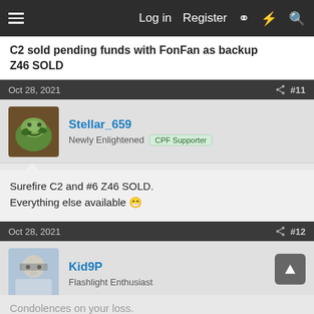Log in  Register
C2 sold pending funds with FonFan as backup Z46 SOLD
Oct 28, 2021  #11
Stellar_659 Newly Enlightened CPF Supporter
Surefire C2 and #6 Z46 SOLD. Everything else available 😁
Oct 28, 2021  #12
Kid9P Flashlight Enthusiast
Condolences on your loss.